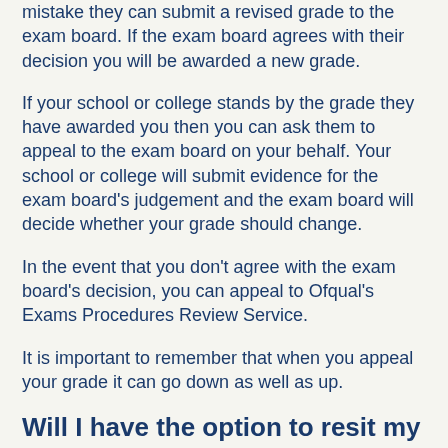mistake they can submit a revised grade to the exam board. If the exam board agrees with their decision you will be awarded a new grade.
If your school or college stands by the grade they have awarded you then you can ask them to appeal to the exam board on your behalf. Your school or college will submit evidence for the exam board's judgement and the exam board will decide whether your grade should change.
In the event that you don't agree with the exam board's decision, you can appeal to Ofqual's Exams Procedures Review Service.
It is important to remember that when you appeal your grade it can go down as well as up.
Will I have the option to resit my GCSE or A level exams in the autumn?